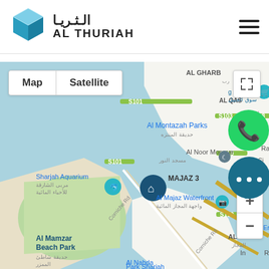[Figure (logo): Al Thuriah logo with teal cube icon and Arabic/English text]
[Figure (screenshot): Google Maps screenshot showing Sharjah area including Al Majaz Waterfront, Al Noor Mosque, Al Mamzar Beach Park, Sharjah Aquarium, with Map/Satellite toggle buttons and zoom controls. WhatsApp and chat overlay buttons visible on right side.]